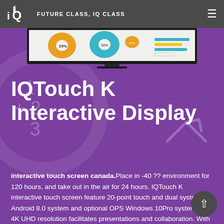FUTURE CLASS, IQ CLASS
[Figure (screenshot): Interactive display monitor showing a presentation with charts and data on a purple background]
IQTouch K Interactive Display
interactive touch screen canada. Place in -40 ?? environment for 120 hours, and take out in the air for 24 hours. IQTouch K interactive touch screen feature 20-point touch and dual system -- Android 8.0 system and optional OPS Windows 10Pro system. Its 4K UHD resolution facilitates presentations and collaboration. With optic multi-screen casting software, IQClass 6.0 and installation-